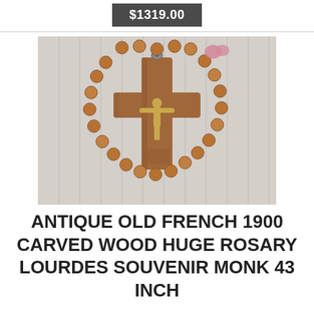$1319.00
[Figure (photo): Photograph of an antique French carved wood rosary with large textured spherical beads and a wooden crucifix with a gold-colored metal corpus of Christ, laid out on a striped fabric background.]
ANTIQUE OLD FRENCH 1900 CARVED WOOD HUGE ROSARY LOURDES SOUVENIR MONK 43 INCH